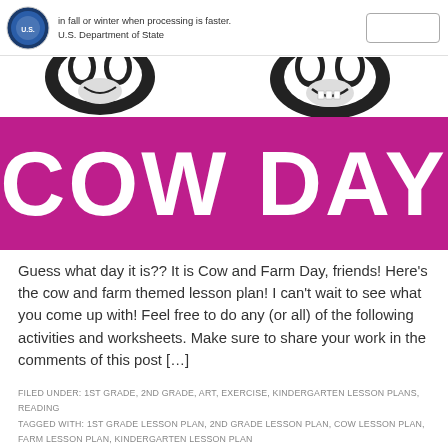in fall or winter when processing is faster. U.S. Department of State
[Figure (illustration): Cow and Farm Day themed image strip with cartoon cow faces in black and white above a magenta banner]
COW DAY
Guess what day it is?? It is Cow and Farm Day, friends! Here's the cow and farm themed lesson plan! I can't wait to see what you come up with! Feel free to do any (or all) of the following activities and worksheets. Make sure to share your work in the comments of this post […]
FILED UNDER: 1ST GRADE, 2ND GRADE, ART, EXERCISE, KINDERGARTEN LESSON PLANS, READING
TAGGED WITH: 1ST GRADE LESSON PLAN, 2ND GRADE LESSON PLAN, COW LESSON PLAN, FARM LESSON PLAN, KINDERGARTEN LESSON PLAN